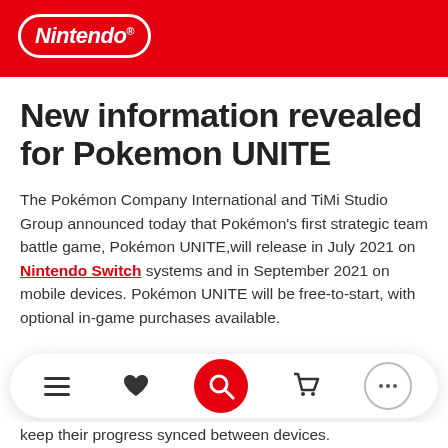Nintendo®
New information revealed for Pokemon UNITE
The Pokémon Company International and TiMi Studio Group announced today that Pokémon's first strategic team battle game, Pokémon UNITE,will release in July 2021 on Nintendo Switch systems and in September 2021 on mobile devices. Pokémon UNITE will be free-to-start, with optional in-game purchases available.
Cross-platform play between Nintendo Switch and mobile devices is planned, which will allow players on both platforms to battle together. Additionally, players
keep their progress synced between devices.